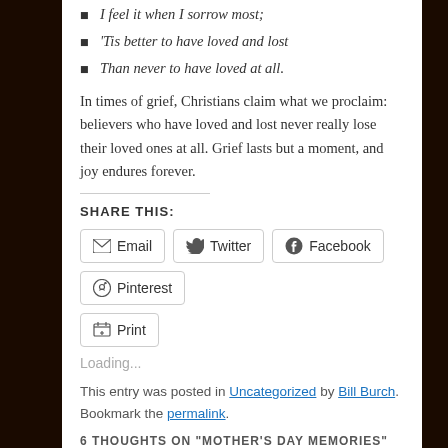I feel it when I sorrow most;
'Tis better to have loved and lost
Than never to have loved at all.
In times of grief, Christians claim what we proclaim: believers who have loved and lost never really lose their loved ones at all. Grief lasts but a moment, and joy endures forever.
SHARE THIS:
Email | Twitter | Facebook | Pinterest | Print
Loading...
This entry was posted in Uncategorized by Bill Burch. Bookmark the permalink.
6 THOUGHTS ON "MOTHER'S DAY MEMORIES"